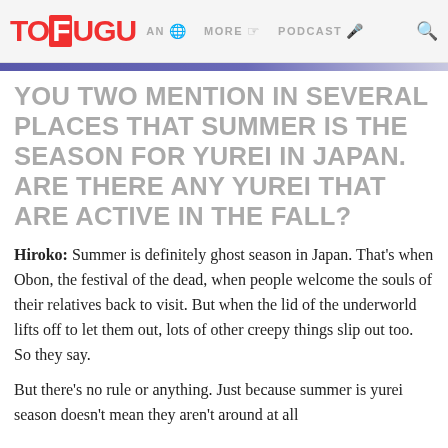TOFUGU | AN | MORE | PODCAST
YOU TWO MENTION IN SEVERAL PLACES THAT SUMMER IS THE SEASON FOR YUREI IN JAPAN. ARE THERE ANY YUREI THAT ARE ACTIVE IN THE FALL?
Hiroko: Summer is definitely ghost season in Japan. That's when Obon, the festival of the dead, when people welcome the souls of their relatives back to visit. But when the lid of the underworld lifts off to let them out, lots of other creepy things slip out too. So they say.
But there's no rule or anything. Just because summer is yurei season doesn't mean they aren't around at all